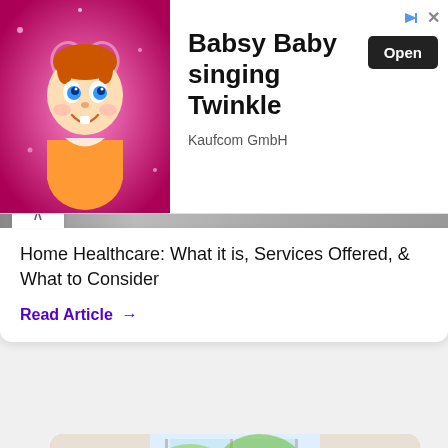[Figure (screenshot): Advertisement banner for Babsy Baby singing Twinkle app by Kaufcom GmbH with animated baby character on pink background and Open button]
Home Healthcare: What it is, Services Offered, & What to Consider
Read Article →
[Figure (photo): Group of elderly people sitting in chairs in a bright conservatory room, with a young female caregiver talking to them]